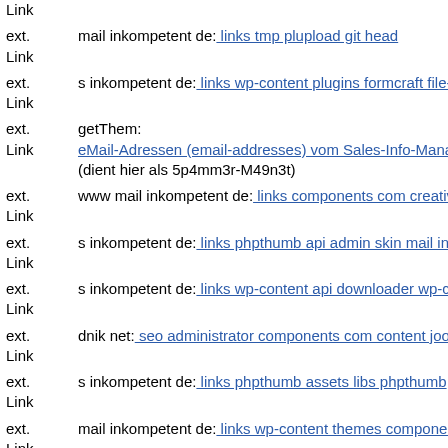Link (partial top)
ext. Link  mail inkompetent de: links tmp plupload git head
ext. Link  s inkompetent de: links wp-content plugins formcraft file-upload
ext. Link  getThem: eMail-Adressen (email-addresses) vom Sales-Info-Manager (L... (dient hier als 5p4mm3r-M49n3t)
ext. Link  www mail inkompetent de: links components com creativecont...
ext. Link  s inkompetent de: links phpthumb api admin skin mail inkomp...
ext. Link  s inkompetent de: links wp-content api downloader wp-content...
ext. Link  dnik net: seo administrator components com content joomla ph...
ext. Link  s inkompetent de: links phpthumb assets libs phpthumb
ext. Link  mail inkompetent de: links wp-content themes components con...
ext. Link  Warum taucht Ihre Website eigentlich so weit hinten in den Suc...
ext. dnik net: seo wp-content themes administration tmp compone...